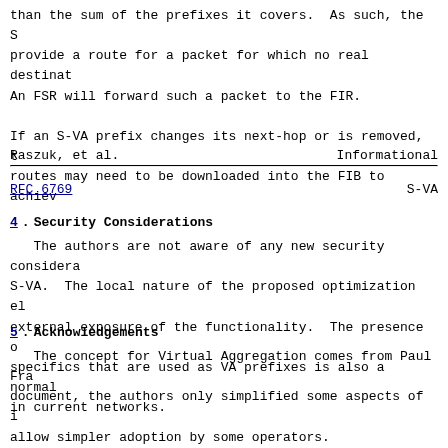than the sum of the prefixes it covers.  As such, the S provide a route for a packet for which no real destinat An FSR will forward such a packet to the FIR.  If an S-VA prefix changes its next-hop or is removed, t routes may need to be downloaded into the FIB to achiev
Raszuk, et al.                    Informational
RFC 6769                          S-VA
4.  Security Considerations
The authors are not aware of any new security considera S-VA.  The local nature of the proposed optimization el external exposure of the functionality.  The presence o specifics that are used as VA prefixes is also a normal in current networks.
5.  Acknowledgements
The concept for Virtual Aggregation comes from Paul Fra document, the authors only simplified some aspects of i allow simpler adoption by some operators.